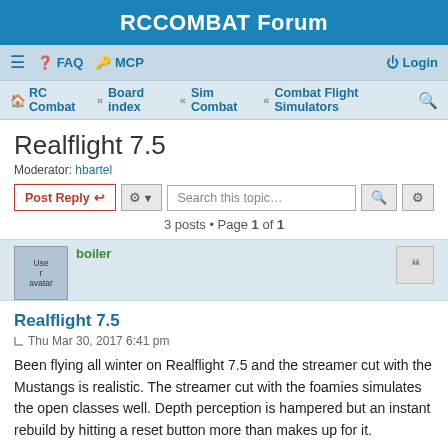RCCOMBAT Forum
≡  FAQ  MCP   Login
RC Combat · Board index · Sim Combat · Combat Flight Simulators
Realflight 7.5
Moderator: hbartel
Post Reply  [tools]  Search this topic...  [search] [advanced]
3 posts • Page 1 of 1
boiler
Realflight 7.5
Thu Mar 30, 2017 6:41 pm
Been flying all winter on Realflight 7.5 and the streamer cut with the Mustangs is realistic. The streamer cut with the foamies simulates the open classes well. Depth perception is hampered but an instant rebuild by hitting a reset button more than makes up for it.
Bob (Longhaul) Loescher
rcca# 621 RC Combat Geezer